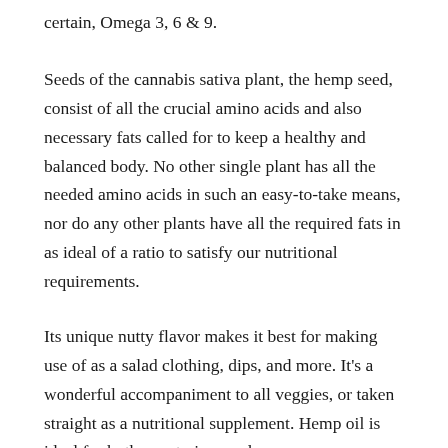certain, Omega 3, 6 & 9.
Seeds of the cannabis sativa plant, the hemp seed, consist of all the crucial amino acids and also necessary fats called for to keep a healthy and balanced body. No other single plant has all the needed amino acids in such an easy-to-take means, nor do any other plants have all the required fats in as ideal of a ratio to satisfy our nutritional requirements.
Its unique nutty flavor makes it best for making use of as a salad clothing, dips, and more. It's a wonderful accompaniment to all veggies, or taken straight as a nutritional supplement. Hemp oil is ideal for both vegetarians and vegans.